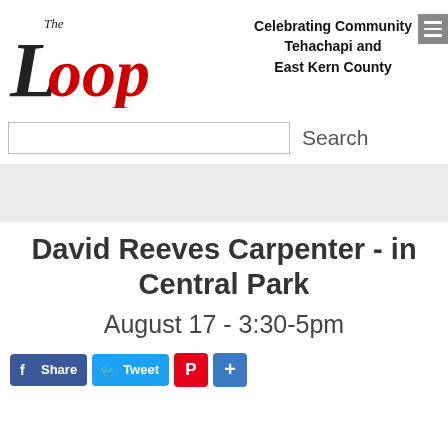[Figure (logo): The Loop logo - red cursive 'Loop' text with small black 'The' above, representing a community news publication]
Celebrating Community
Tehachapi and
East Kern County
Search
David Reeves Carpenter - in Central Park
August 17 - 3:30-5pm
Share  Tweet